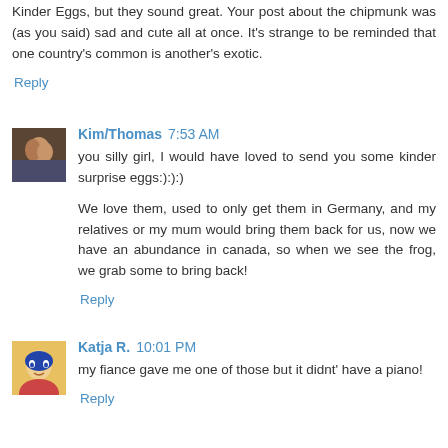Kinder Eggs, but they sound great. Your post about the chipmunk was (as you said) sad and cute all at once. It's strange to be reminded that one country's common is another's exotic.
Reply
Kim/Thomas 7:53 AM
you silly girl, I would have loved to send you some kinder surprise eggs:):):)
We love them, used to only get them in Germany, and my relatives or my mum would bring them back for us, now we have an abundance in canada, so when we see the frog, we grab some to bring back!
Reply
Katja R. 10:01 PM
my fiance gave me one of those but it didnt' have a piano!
Reply